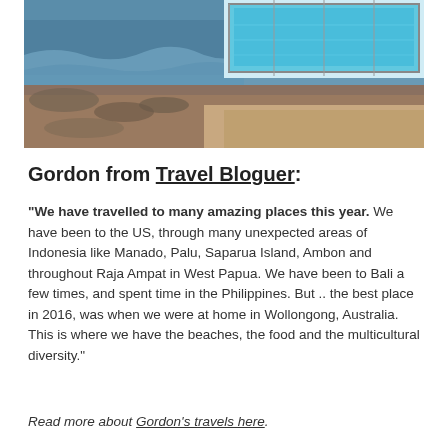[Figure (photo): Aerial or elevated view of a coastal rock pool/swimming pool area next to the ocean, with rocky coastline, waves, and sandy shore visible. The pool has blue water and is fenced.]
Gordon from Travel Bloguer:
“We have travelled to many amazing places this year. We have been to the US, through many unexpected areas of Indonesia like Manado, Palu, Saparua Island, Ambon and throughout Raja Ampat in West Papua. We have been to Bali a few times, and spent time in the Philippines. But .. the best place in 2016, was when we were at home in Wollongong, Australia. This is where we have the beaches, the food and the multicultural diversity.”
Read more about Gordon’s travels here.